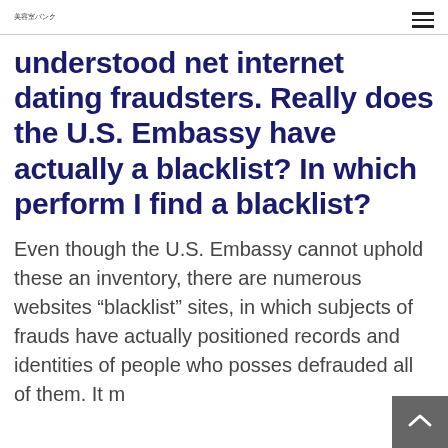美容室バンク
understood net internet dating fraudsters. Really does the U.S. Embassy have actually a blacklist? In which perform I find a blacklist?
Even though the U.S. Embassy cannot uphold these an inventory, there are numerous websites “blacklist” sites, in which subjects of frauds have actually positioned records and identities of people who posses defrauded all of them. It may be beneficial to execute an online sear